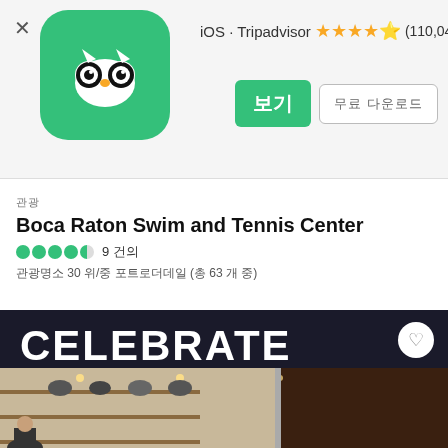[Figure (logo): Tripadvisor owl logo on green rounded square background]
iOS ∙ Tripadvisor ★★★★½ (110,043)
보기 무료 다운로드
관광
Boca Raton Swim and Tennis Center
●●●●◐ 9 건의
관광명소 30 위/중 포트로더데일 (총 63 개 중)
[Figure (photo): Interior photo of a shop/store with a large illuminated 'CELEBRATE' sign on a dark ceiling. Shelves display various merchandise including hats and accessories. A person is visible in the lower left corner.]